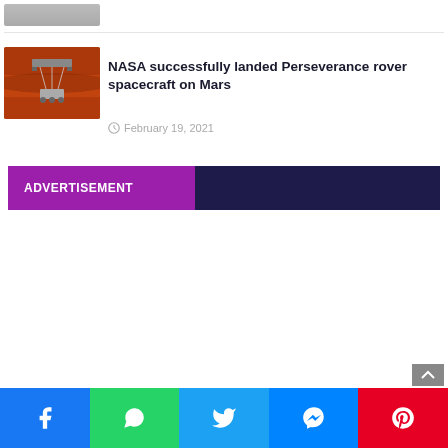[Figure (photo): Partial grayscale photo visible at top, cropped]
[Figure (photo): NASA Perseverance rover being lowered to Mars surface, reddish-brown Martian landscape]
NASA successfully landed Perseverance rover spacecraft on Mars
February 19, 2021
ADVERTISEMENT
Facebook WhatsApp Twitter Messenger Pinterest